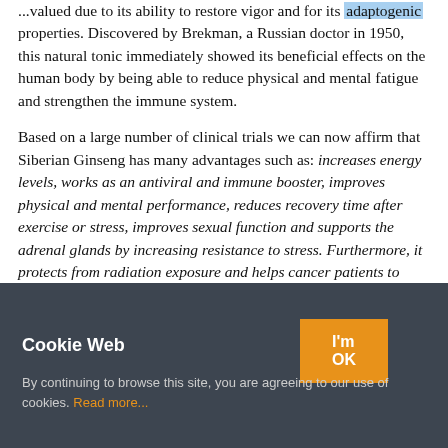...valued due to its ability to restore vigor and for its adaptogenic properties. Discovered by Brekman, a Russian doctor in 1950, this natural tonic immediately showed its beneficial effects on the human body by being able to reduce physical and mental fatigue and strengthen the immune system.
Based on a large number of clinical trials we can now affirm that Siberian Ginseng has many advantages such as: increases energy levels, works as an antiviral and immune booster, improves physical and mental performance, reduces recovery time after exercise or stress, improves sexual function and supports the adrenal glands by increasing resistance to stress. Furthermore, it protects from radiation exposure and helps cancer patients to better tolerate chemotherapy.
Eleuthero or Siberian Ginseng is an adaptogenic herb...
Cookie Web
By continuing to browse this site, you are agreeing to our use of cookies. Read more...